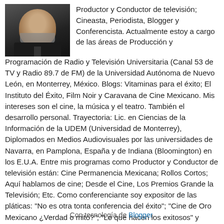[Figure (photo): Black and white portrait photo of a man with beard wearing a suit and tie]
Productor y Conductor de televisión; Cineasta, Periodista, Blogger y Conferencista. Actualmente estoy a cargo de las áreas de Producción y Programación de Radio y Televisión Universitaria (Canal 53 de TV y Radio 89.7 de FM) de la Universidad Autónoma de Nuevo León, en Monterrey, México. Blogs: Vitaminas para el éxito; El Instituto del Éxito, Film Noir y Caravana de Cine Mexicano. Mis intereses son el cine, la música y el teatro. También el desarrollo personal. Trayectoria: Lic. en Ciencias de la Información de la UDEM (Universidad de Monterrey), Diplomados en Medios Audiovisuales por las universidades de Navarra, en Pamplona, España y de Indiana (Bloomington) en los E.U.A. Entre mis programas como Productor y Conductor de televisión están: Cine Permanencia Mexicana; Rollos Cortos; Aquí hablamos de cine; Desde el Cine, Los Premios Grande la Televisión; Etc. Como conferenciante soy expositor de las pláticas: "No es otra tonta conferencia del éxito"; "Cine de Oro Mexicano ¿Verdad o mito?"; "Lo que hacen los exitosos" y "Pioneras en el cine mexicano".
Ver mi perfil completo
Con tecnología de Blogger.